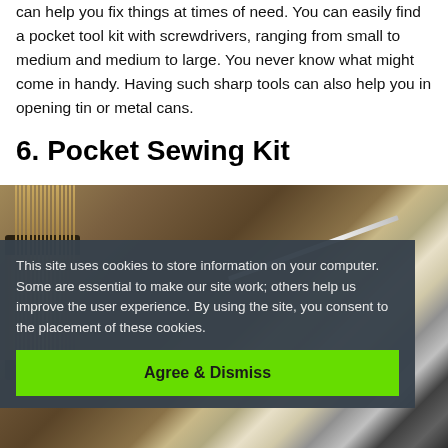can help you fix things at times of need. You can easily find a pocket tool kit with screwdrivers, ranging from small to medium and medium to large. You never know what might come in handy. Having such sharp tools can also help you in opening tin or metal cans.
6. Pocket Sewing Kit
[Figure (photo): Close-up photograph of a sewing kit showing a wooden spool with thread and a needle, with blurred background in warm brown tones.]
This site uses cookies to store information on your computer. Some are essential to make our site work; others help us improve the user experience. By using the site, you consent to the placement of these cookies.
Agree & Dismiss